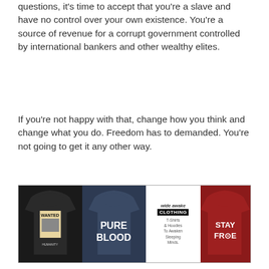questions, it's time to accept that you're a slave and have no control over your own existence. You're a source of revenue for a corrupt government controlled by international bankers and other wealthy elites.
If you're not happy with that, change how you think and change what you do. Freedom has to demanded. You're not going to get it any other way.
[Figure (illustration): Advertisement banner for 'wide awake CLOTHING' showing three hoodies: a black hoodie with 'WANTED HUMANITY' text, a navy hoodie with 'PURE BLOOD' text, a center logo area with brand name and tagline 'T-Shirts & Hoodies To Awaken Sleeping Minds.', and a red hoodie with 'STAY FREE' text.]